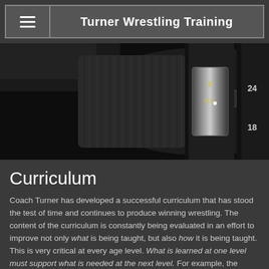Turner Wrestling Training
[Figure (photo): Close-up photo of a camera lens showing VR markings, focal length ring with 200mm 1:3.5-5.6 marking, focus distance scale showing 0.5 and 3, and zoom ring showing 18 and 24mm focal lengths. Dark black tones throughout.]
Curriculum
Coach Turner has developed a successful curriculum that has stood the test of time and continues to produce winning wrestling. The content of the curriculum is constantly being evaluated in an effort to improve not only what is being taught, but also how it is being taught. This is very critical at every age level. What is learned at one level must support what is needed at the next level. For example, the youth wrestler